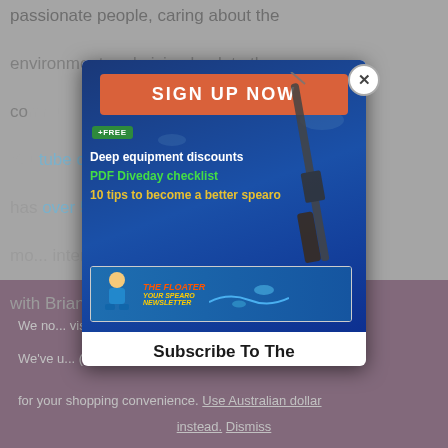passionate people, caring about the environment and giving back to the communities that welcome them. Their Youtube channel is #2 in the sailing world, has over 595k subscribers and 9 million mo... interview mostly with Brian due to Karin being on family...
We no... visiting from United States (US). We've u... (US) dollar for your shopping convenience. Use Australian dollar instead. Dismiss
[Figure (screenshot): Modal popup with a 'SIGN UP NOW' button (orange/red), underwater background with speargun, bullet points: 'Deep equipment discounts' (white), 'PDF Diveday checklist' (green), '10 tips to become a better spearo' (yellow/orange), and 'The Floater' newsletter banner at bottom. Below modal: 'Subscribe To The']